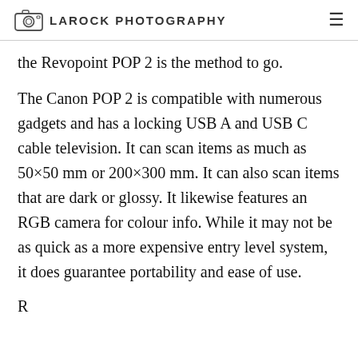LAROCK PHOTOGRAPHY
the Revopoint POP 2 is the method to go.
The Canon POP 2 is compatible with numerous gadgets and has a locking USB A and USB C cable television. It can scan items as much as 50×50 mm or 200×300 mm. It can also scan items that are dark or glossy. It likewise features an RGB camera for colour info. While it may not be as quick as a more expensive entry level system, it does guarantee portability and ease of use.
R...